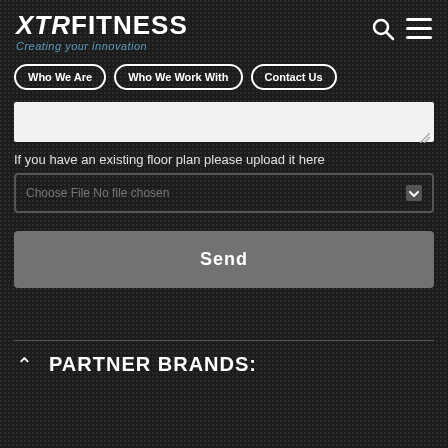XTR FITNESS — Creating your innovation
Who We Are | Who We Work With | Contact Us
If you have an existing floor plan please upload it here
Choose File: No file chosen
Send
PARTNER BRANDS: